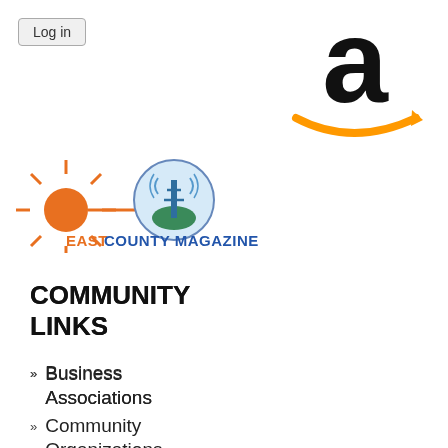Log in
[Figure (logo): Amazon logo — large stylized lowercase 'a' in black with orange arrow/smile beneath]
[Figure (logo): East County Magazine logo — orange sun with rays, blue circular radio tower graphic, text 'EAST COUNTY MAGAZINE' in blue and orange]
COMMUNITY LINKS
Business Associations
Community Organizations
County and City Governments
East County Sports
Immigration and Citizenship